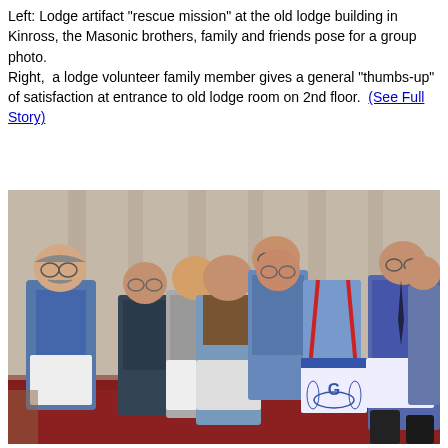Left: Lodge artifact "rescue mission" at the old lodge building in Kinross, the Masonic brothers, family and friends pose for a group photo. Right, a lodge volunteer family member gives a general "thumbs-up" of satisfaction at entrance to old lodge room on 2nd floor. (See Full Story)
[Figure (photo): Group photo of approximately 11 Masonic brothers, family and friends posing inside the old lodge building in Kinross. The men are wearing overalls, work shirts, and some display white Masonic aprons. They are standing in front of curtains on a red floor.]